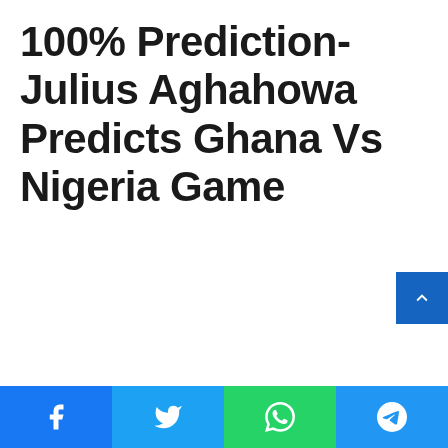100% Prediction- Julius Aghahowa Predicts Ghana Vs Nigeria Game
[Figure (other): Scroll-to-top button (blue square with upward chevron arrow) positioned at bottom-right]
Facebook | Twitter | WhatsApp | Telegram share buttons